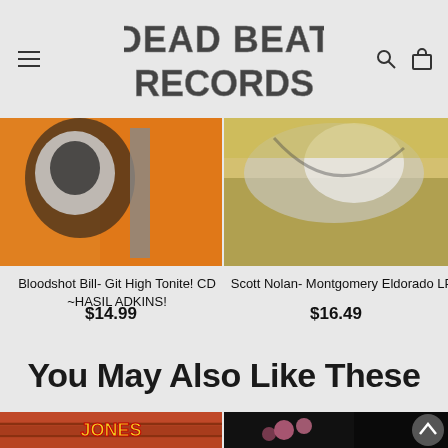Dead Beat Records
[Figure (illustration): Bloodshot Bill product album art - orange and black image with microphone and figure]
Bloodshot Bill- Git High Tonite! CD ~HASIL ADKINS!
$14.99
[Figure (illustration): Scott Nolan product album art - grey/white/yellow abstract painting]
Scott Nolan- Montgomery Eldorado LP
$16.49
You May Also Like These
[Figure (illustration): Jones record product image - comic book style logo on brick wall background]
[Figure (illustration): Dark product image with flowers and faces]